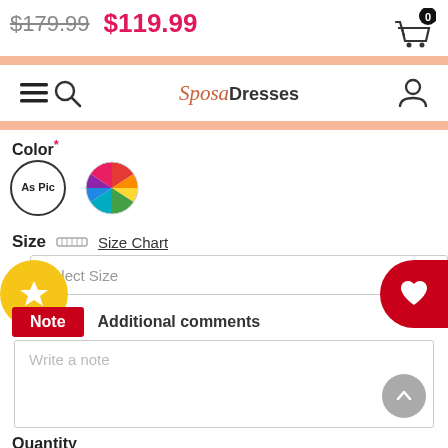$179.99  $119.99
[Figure (screenshot): Navigation bar with hamburger menu, search icon, SpesaDresses logo, and user account icon]
Color *
[Figure (other): Two color swatch circles: one labeled As Pic (outlined circle) and one multicolor rainbow circle]
Size  [ruler icon] Size Chart
Select Size
Note  Additional comments
Write a note
Quantity
[Figure (other): Quantity selector with down arrow, 1, and up arrow]